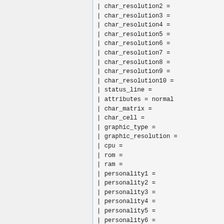| char_resolution2 =
| char_resolution3 =
| char_resolution4 =
| char_resolution5 =
| char_resolution6 =
| char_resolution7 =
| char_resolution8 =
| char_resolution9 =
| char_resolution10 =
| status_line =
| attributes = normal
| char_matrix =
| char_cell =
| graphic_type =
| graphic_resolution =
| cpu =
| rom =
| ram =
| personality1 =
| personality2 =
| personality3 =
| personality4 =
| personality5 =
| personality6 =
| personality7 =